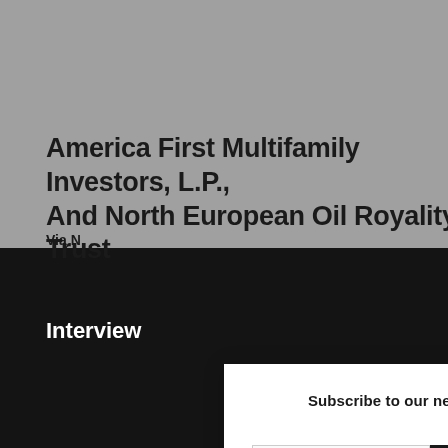America First Multifamily Investors, L.P., And North European Oil Royality Trust
Via N
[Figure (screenshot): Newsletter subscription modal dialog with email input field and Submit button, overlaying a grey and dark background page]
Interview